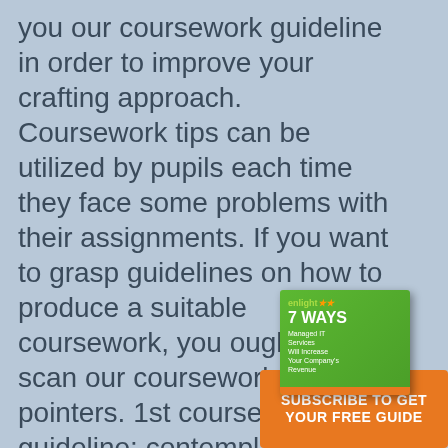you our coursework guideline in order to improve your crafting approach. Coursework tips can be utilized by pupils each time they face some problems with their assignments. If you want to grasp guidelines on how to produce a suitable coursework, you ought to scan our coursework pointers. 1st coursework guideline: contemplate about a subject matter you
[Figure (illustration): Advertisement box showing a green book cover titled '7 WAYS Managed IT Services Will Increase Your Company's Revenue' with 'enlight' logo, on an orange background with text 'SUBSCRIBE TO GET YOUR FREE GUIDE']